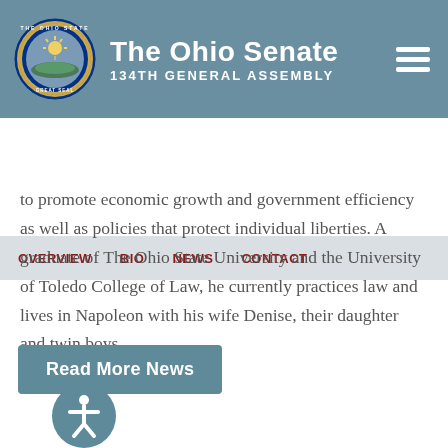The Ohio Senate 134th General Assembly
OVERVIEW   BIO   NEWS   CONTACT
to promote economic growth and government efficiency as well as policies that protect individual liberties. A graduate of The Ohio State University and the University of Toledo College of Law, he currently practices law and lives in Napoleon with his wife Denise, their daughter and twin boys.
Read More News